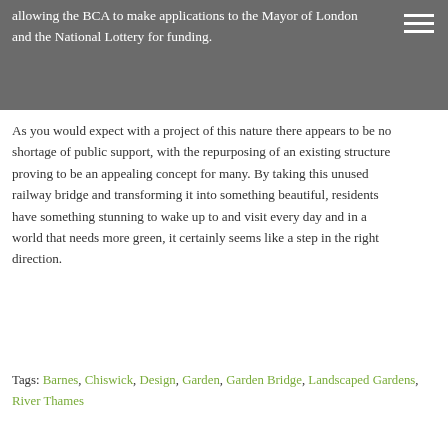allowing the BCA to make applications to the Mayor of London and the National Lottery for funding.
As you would expect with a project of this nature there appears to be no shortage of public support, with the repurposing of an existing structure proving to be an appealing concept for many. By taking this unused railway bridge and transforming it into something beautiful, residents have something stunning to wake up to and visit every day and in a world that needs more green, it certainly seems like a step in the right direction.
Tags: Barnes, Chiswick, Design, Garden, Garden Bridge, Landscaped Gardens, River Thames